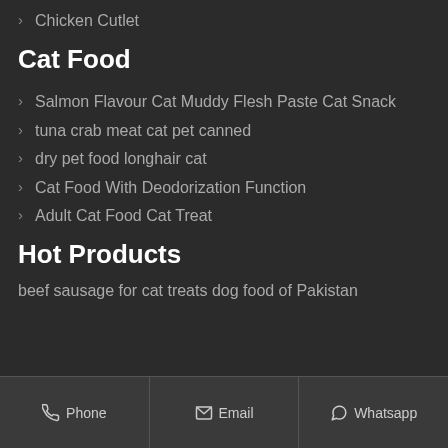Chicken Cutlet
Cat Food
Salmon Flavour Cat Muddy Flesh Paste Cat Snack
tuna crab meat cat pet canned
dry pet food longhair cat
Cat Food With Deodorization Function
Adult Cat Food Cat Treat
Hot Products
beef sausage for cat treats dog food of Pakistan
Phone  Email  Whatsapp